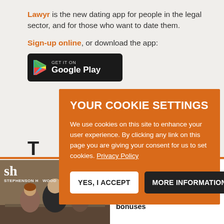Lawyr is the new dating app for people in the legal sector, and for those who want to date them.
Sign-up online, or download the app:
[Figure (screenshot): Google Play store badge button on dark background]
YOUR COOKIE SETTINGS
We use cookies on this site to enhance your user experience. By clicking any link on this page you are giving your consent for us to set cookies. Privacy Policy
YES, I ACCEPT | MORE INFORMATION
[Figure (photo): Stephenson Harwood logo with office scene showing people at a desk]
EXCLUSIVE Stephenson Harwood sorry after lawyers accidentally promised big bonuses